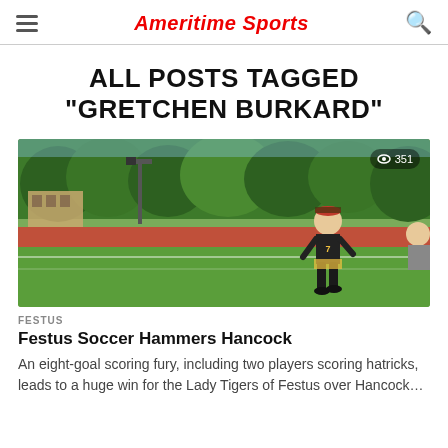Ameritime Sports
ALL POSTS TAGGED "GRETCHEN BURKARD"
[Figure (photo): Soccer player in black and gold Festus jersey running on a green field with trees and school buildings in background. View count badge showing 351 in top right corner.]
FESTUS
Festus Soccer Hammers Hancock
An eight-goal scoring fury, including two players scoring hatricks, leads to a huge win for the Lady Tigers of Festus over Hancock…